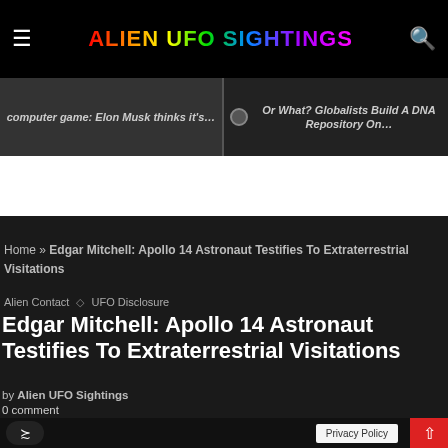ALIEN UFO SIGHTINGS
[Figure (screenshot): Navigation image: left panel shows 'computer game: Elon Musk thinks it's...' text; right panel shows 'Or What? Globalists Build A DNA Repository On...' with radio button icon]
Home » Edgar Mitchell: Apollo 14 Astronaut Testifies To Extraterrestrial Visitations
Alien Contact  ◇  UFO Disclosure
Edgar Mitchell: Apollo 14 Astronaut Testifies To Extraterrestrial Visitations
by Alien UFO Sightings
0 comment
Privacy Policy